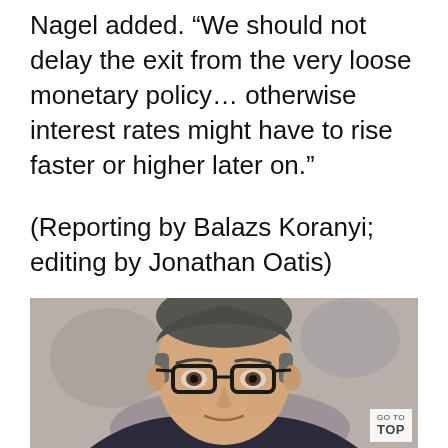Nagel added. “We should not delay the exit from the very loose monetary policy… otherwise interest rates might have to rise faster or higher later on.”
(Reporting by Balazs Koranyi; editing by Jonathan Oatis)
[Figure (photo): Portrait photo of a middle-aged man with dark-rimmed glasses and short dark grey hair, wearing a dark suit, smiling slightly, with a blurred decorative background.]